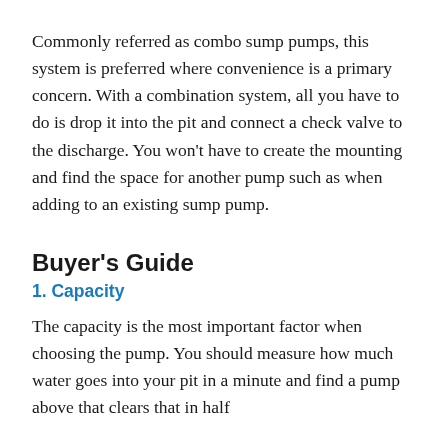Commonly referred as combo sump pumps, this system is preferred where convenience is a primary concern. With a combination system, all you have to do is drop it into the pit and connect a check valve to the discharge. You won't have to create the mounting and find the space for another pump such as when adding to an existing sump pump.
Buyer's Guide
1. Capacity
The capacity is the most important factor when choosing the pump. You should measure how much water goes into your pit in a minute and find a pump above that clears that in half